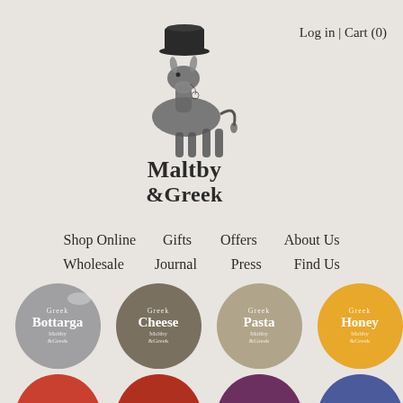[Figure (logo): Maltby & Greek logo: illustrated donkey wearing a top hat, with brand name below]
Log in | Cart (0)
Shop Online   Gifts   Offers   About Us
Wholesale   Journal   Press   Find Us
[Figure (illustration): Grid of circular category icons: Greek Bottarga (gray), Greek Cheese (olive), Greek Pasta (tan), Greek Honey (gold), Greek Marmelades (red), Greek Condiments (dark red), Greek Mastics (purple), Greek Pulses (blue)]